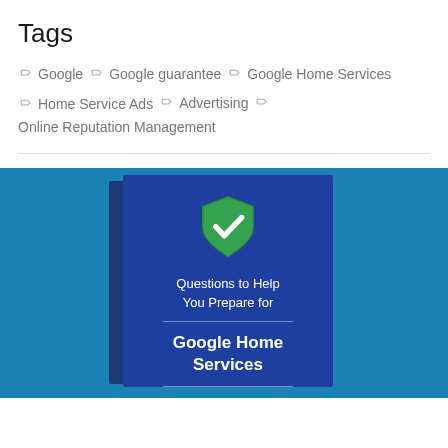Tags
Google  Google guarantee  Google Home Services  Home Service Ads  Advertising  Online Reputation Management
[Figure (illustration): Book cover with Google Home Services title and a green checkmark shield icon, set against a blue background.]